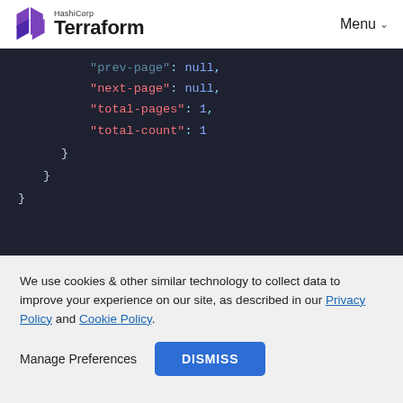HashiCorp Terraform  Menu
[Figure (screenshot): Dark-themed JSON code block showing: 'prev-page': null, 'next-page': null, 'total-pages': 1, 'total-count': 1, followed by closing braces]
Show an Agent Token
We use cookies & other similar technology to collect data to improve your experience on our site, as described in our Privacy Policy and Cookie Policy.
Manage Preferences  DISMISS